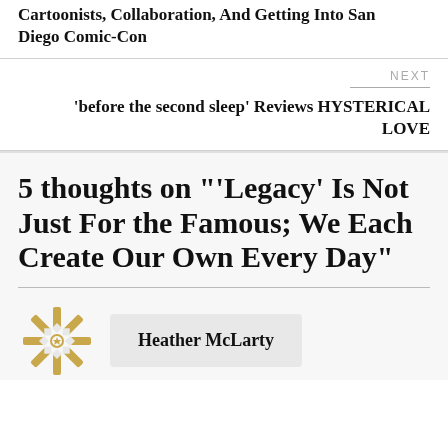Cartoonists, Collaboration, And Getting Into San Diego Comic-Con
NEXT
'before the second sleep' Reviews HYSTERICAL LOVE
5 thoughts on "'Legacy' Is Not Just For the Famous; We Each Create Our Own Every Day"
Heather McLarty